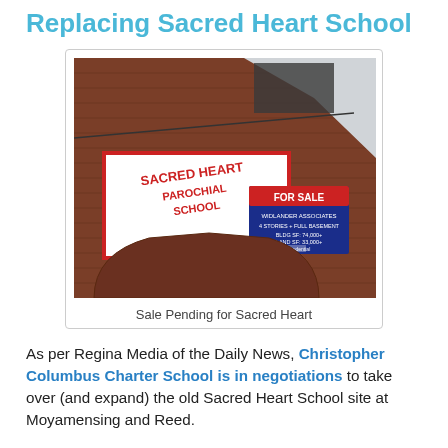Replacing Sacred Heart School
[Figure (photo): Photograph of the Sacred Heart Parochial School brick building exterior with a 'FOR SALE' sign and 'SACRED HEART PAROCHIAL SCHOOL' sign visible]
Sale Pending for Sacred Heart
As per Regina Media of the Daily News, Christopher Columbus Charter School is in negotiations to take over (and expand) the old Sacred Heart School site at Moyamensing and Reed.
This confirms a lot of neighborhood speculation that the site